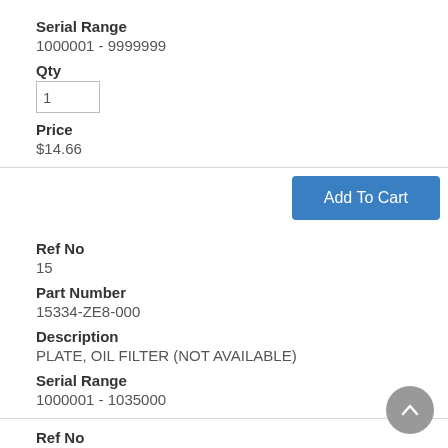Serial Range
1000001 - 9999999
Qty
1
Price
$14.66
Add To Cart
Ref No
15
Part Number
15334-ZE8-000
Description
PLATE, OIL FILTER (NOT AVAILABLE)
Serial Range
1000001 - 1035000
Ref No
15